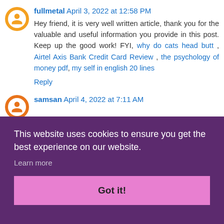fullmetal April 3, 2022 at 12:58 PM
Hey friend, it is very well written article, thank you for the valuable and useful information you provide in this post. Keep up the good work! FYI, why do cats head butt , Airtel Axis Bank Credit Card Review , the psychology of money pdf, my self in english 20 lines
Reply
samsan April 4, 2022 at 7:11 AM
This website uses cookies to ensure you get the best experience on our website.
Learn more
Got it!